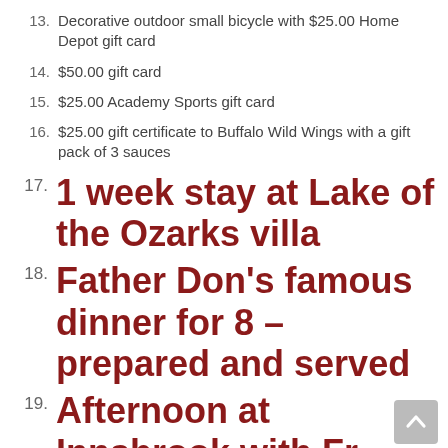13. Decorative outdoor small bicycle with $25.00 Home Depot gift card
14. $50.00 gift card
15. $25.00 Academy Sports gift card
16. $25.00 gift certificate to Buffalo Wild Wings with a gift pack of 3 sauces
17. 1 week stay at Lake of the Ozarks villa
18. Father Don’s famous dinner for 8 – prepared and served
19. Afternoon at Innsbrook with Fr. Joe and Fr. Bob for 10
• Enjoy a relaxing afternoon lakeside
• Hamburgers, bratwurst, hotdogs and all...